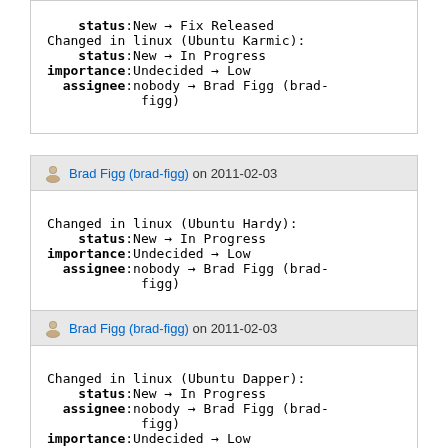status:New → Fix Released
Changed in linux (Ubuntu Karmic):
    status:New → In Progress
importance:Undecided → Low
  assignee:nobody → Brad Figg (brad-figg)
Brad Figg (brad-figg) on 2011-02-03
Changed in linux (Ubuntu Hardy):
    status:New → In Progress
importance:Undecided → Low
  assignee:nobody → Brad Figg (brad-figg)
Brad Figg (brad-figg) on 2011-02-03
Changed in linux (Ubuntu Dapper):
    status:New → In Progress
  assignee:nobody → Brad Figg (brad-figg)
importance:Undecided → Low